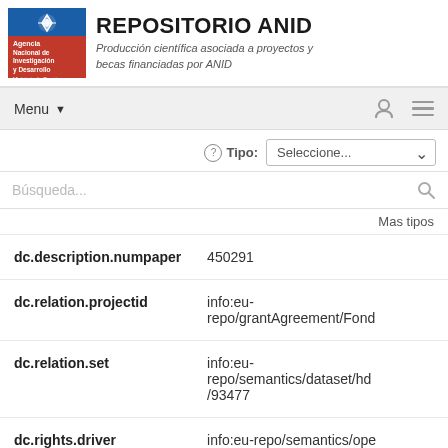[Figure (logo): ANID - Agencia Nacional de Investigación y Desarrollo logo with Chilean government branding]
REPOSITORIO ANID
Producción científica asociada a proyectos y becas financiadas por ANID
Menu ▼
Tipo: Seleccione...
Búsqueda...
Mas tipos
| Field | Value |
| --- | --- |
| dc.description.numpaper | 450291 |
| dc.relation.projectid | info:eu-repo/grantAgreement/Fond |
| dc.relation.set | info:eu-repo/semantics/dataset/hd/93477 |
| dc.rights.driver | info:eu-repo/semantics/ope |